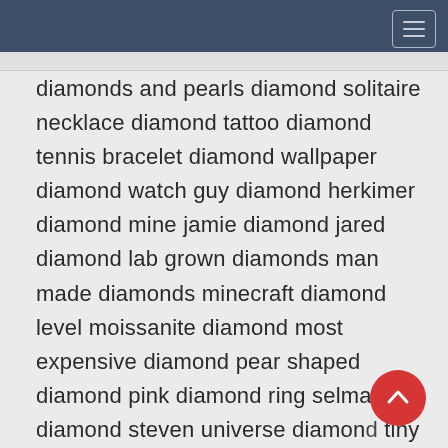diamonds and pearls diamond solitaire necklace diamond tattoo diamond tennis bracelet diamond wallpaper diamond watch guy diamond herkimer diamond mine jamie diamond jared diamond lab grown diamonds man made diamonds minecraft diamond level moissanite diamond most expensive diamond pear shaped diamond pink diamond ring selma diamond steven universe diamond tiny diamond trolls versace yellow diamond